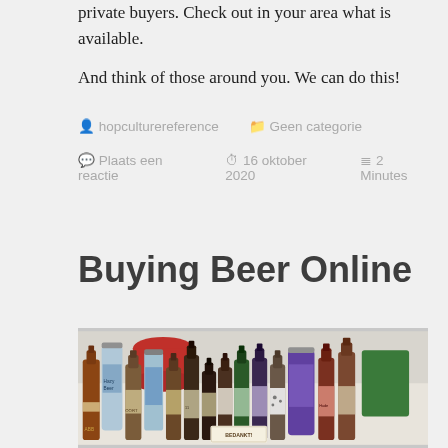private buyers. Check out in your area what is available. And think of those around you. We can do this!
hopculturereference   Geen categorie
Plaats een reactie   16 oktober 2020   2 Minutes
Buying Beer Online
[Figure (photo): A collection of beer bottles and cans of various brands arranged on a table, with a red round box in the background and a 'BEDANKT!' card in front.]